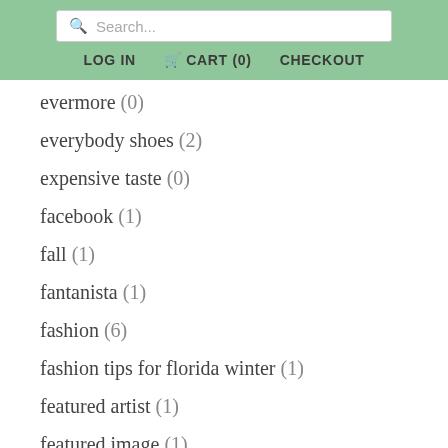Search... | LOG IN | CART (0) | CHECKOUT
evermore (0)
everybody shoes (2)
expensive taste (0)
facebook (1)
fall (1)
fantanista (1)
fashion (6)
fashion tips for florida winter (1)
featured artist (1)
featured image (1)
ffansi (1)